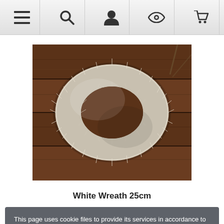[Figure (other): Top navigation bar with hamburger menu, search, user/account, eye/wishlist, and shopping cart icons on a light grey gradient background]
[Figure (photo): A white straw/hay wreath (25cm) resting on a dark wooden plank surface, photographed from above]
White Wreath 25cm
This page uses cookie files to provide its services in accordance to Cookies Usage Policy.
Close